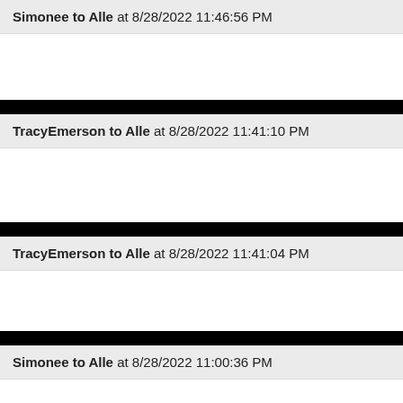Simonee to Alle at 8/28/2022 11:46:56 PM
TracyEmerson to Alle at 8/28/2022 11:41:10 PM
TracyEmerson to Alle at 8/28/2022 11:41:04 PM
Simonee to Alle at 8/28/2022 11:00:36 PM